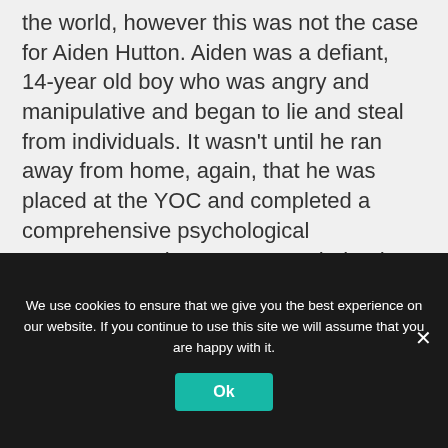the world, however this was not the case for Aiden Hutton. Aiden was a defiant, 14-year old boy who was angry and manipulative and began to lie and steal from individuals. It wasn't until he ran away from home, again, that he was placed at the YOC and completed a comprehensive psychological assessment. The assessment helped identify some past traumatic life events that may have been triggering Aiden's reactions and inappropriate behaviors. The diagnostic testing was the start of
We use cookies to ensure that we give you the best experience on our website. If you continue to use this site we will assume that you are happy with it.